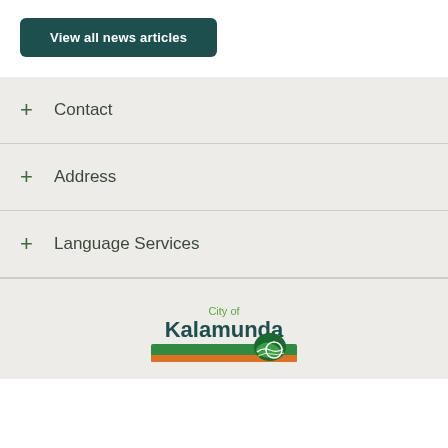View all news articles
+ Contact
+ Address
+ Language Services
[Figure (logo): City of Kalamunda logo with green and orange banner and stylized wave/ball graphic]